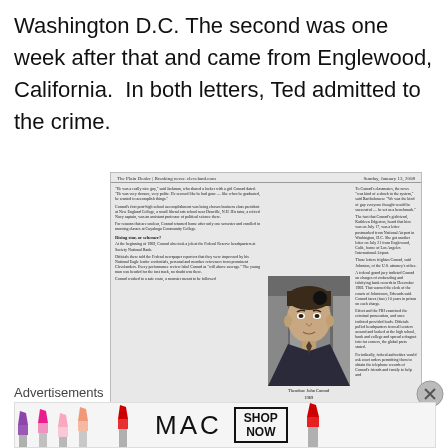Washington D.C. The second was one week after that and came from Englewood, California.  In both letters, Ted admitted to the crime.
[Figure (photo): Newspaper clipping with photo of Theodore John Conrad 1969, with columns of text describing his background and crimes. Header reads 'The Plain Dealer | Breaking news: cleveland.com' and date 'Sunday, January 13, 2008']
Theodore John Conrad
1969
Advertisements
[Figure (photo): MAC cosmetics advertisement showing lipsticks and 'SHOP NOW' button]